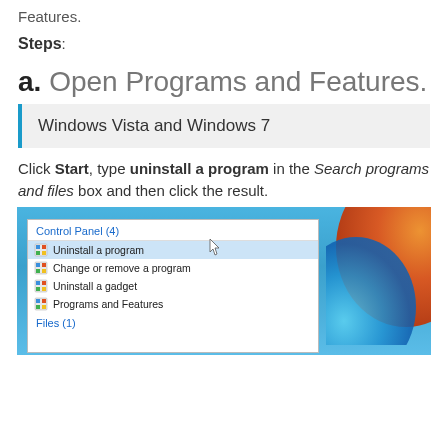Features.
Steps:
a. Open Programs and Features.
Windows Vista and Windows 7
Click Start, type uninstall a program in the Search programs and files box and then click the result.
[Figure (screenshot): Windows 7 Start Menu search results showing Control Panel (4) with 'Uninstall a program' highlighted, 'Change or remove a program', 'Uninstall a gadget', 'Programs and Features', and Files (1) section. Windows logo visible on right side.]